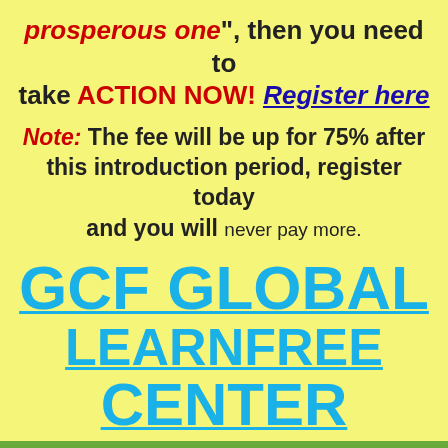prosperous one", then you need to take ACTION NOW! Register here
Note: The fee will be up for 75% after this introduction period, register today and you will never pay more.
GCF GLOBAL LEARNFREE CENTER
Powered by Wild Apricot. Try our all-in-one platform for easy membership management  TRY IT FREE